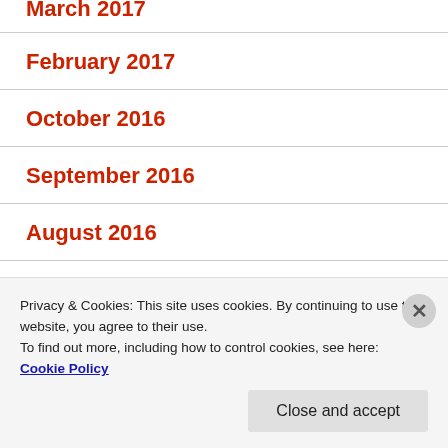March 2017
February 2017
October 2016
September 2016
August 2016
July 2016
June 2016
Privacy & Cookies: This site uses cookies. By continuing to use this website, you agree to their use.
To find out more, including how to control cookies, see here:
Cookie Policy
Close and accept